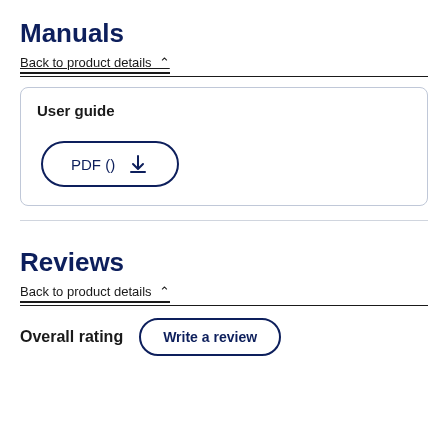Manuals
Back to product details ^
User guide
PDF ()  [download icon]
Reviews
Back to product details ^
Overall rating
Write a review